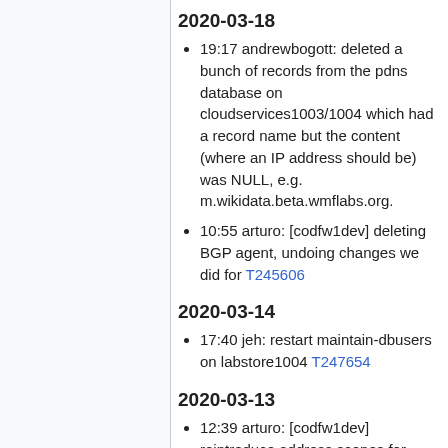2020-03-18
19:17 andrewbogott: deleted a bunch of records from the pdns database on cloudservices1003/1004 which had a record name but the content (where an IP address should be) was NULL, e.g. m.wikidata.beta.wmflabs.org.
10:55 arturo: [codfw1dev] deleting BGP agent, undoing changes we did for T245606
2020-03-14
17:40 jeh: restart maintain-dbusers on labstore1004 T247654
2020-03-13
12:39 arturo: [codfw1dev] reintroduce address scopes for another round of